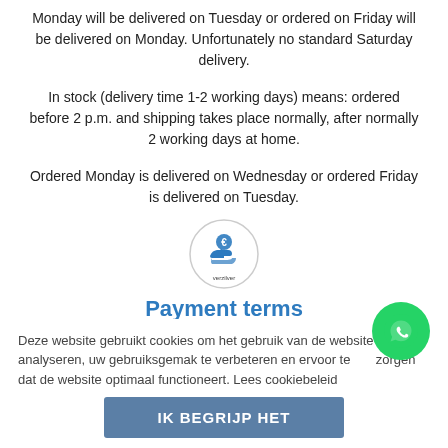Monday will be delivered on Tuesday or ordered on Friday will be delivered on Monday. Unfortunately no standard Saturday delivery.
In stock (delivery time 1-2 working days) means: ordered before 2 p.m. and shipping takes place normally, after normally 2 working days at home.
Ordered Monday is delivered on Wednesday or ordered Friday is delivered on Tuesday.
[Figure (logo): Circular icon with a blue hand holding a euro coin, with text 'verzilver' below]
Payment terms
What are the payment conditions at Medyc?
...
Deze website gebruikt cookies om het gebruik van de website te analyseren, uw gebruiksgemak te verbeteren en ervoor te zorgen dat de website optimaal functioneert. Lees cookiebeleid
IK BEGRIJP HET